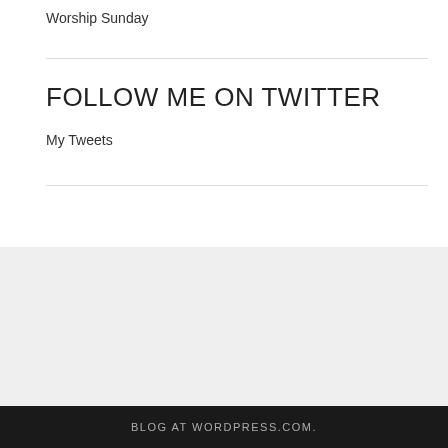Worship Sunday
FOLLOW ME ON TWITTER
My Tweets
[Figure (other): WordPress Follow button: 'Follow God is Open' in teal/blue with WordPress logo icon]
BLOG AT WORDPRESS.COM.